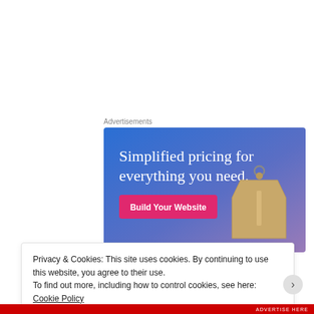Advertisements
[Figure (illustration): Advertisement banner with blue-to-purple gradient background showing text 'Simplified pricing for everything you need.' with a pink 'Build Your Website' button and a tan price tag image on the right.]
NEVER  EVER  GONE
Privacy & Cookies: This site uses cookies. By continuing to use this website, you agree to their use.
To find out more, including how to control cookies, see here: Cookie Policy
Close and accept